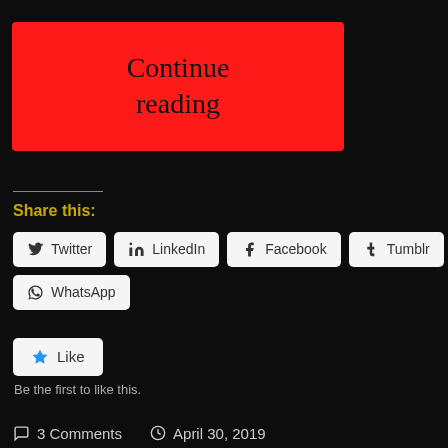Continue reading
Share this:
Twitter  LinkedIn  Facebook  Tumblr
WhatsApp
Like
Be the first to like this.
3 Comments   April 30, 2019